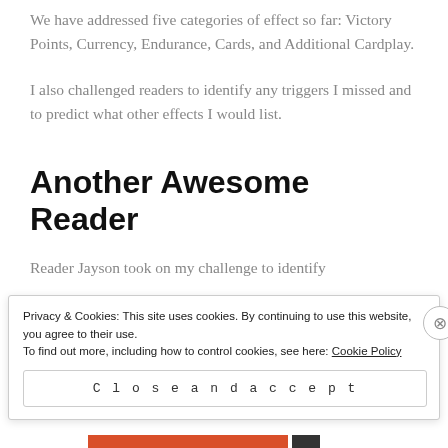We have addressed five categories of effect so far: Victory Points, Currency, Endurance, Cards, and Additional Cardplay.
I also challenged readers to identify any triggers I missed and to predict what other effects I would list.
Another Awesome Reader
Reader Jayson took on my challenge to identify
Privacy & Cookies: This site uses cookies. By continuing to use this website, you agree to their use.
To find out more, including how to control cookies, see here: Cookie Policy
Close and accept